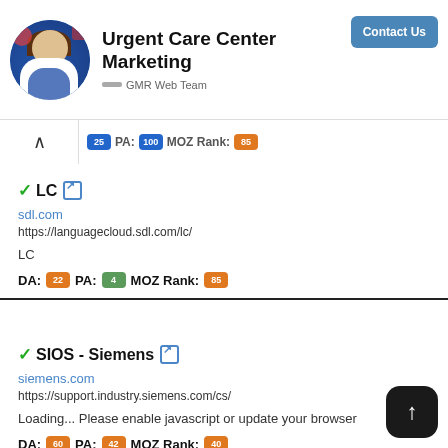Urgent Care Center Marketing — GMR Web Team — Contact Us
PA: [100] MOZ Rank: [85]
✓LC 🔗
sdl.com
https://languagecloud.sdl.com/lc/
LC
DA: [22] PA: [4] MOZ Rank: [85]
✓SIOS - Siemens 🔗
siemens.com
https://support.industry.siemens.com/cs/
Loading... Please enable javascript or update your browser
DA: [60] PA: [42] MOZ Rank: [40]